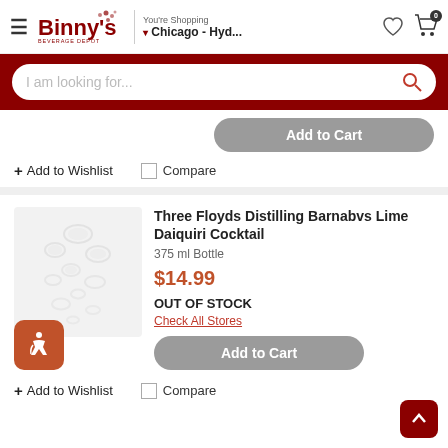Binny's Beverage Depot — You're Shopping Chicago - Hyd...
I am looking for...
Add to Cart
+ Add to Wishlist
Compare
Three Floyds Distilling Barnabvs Lime Daiquiri Cocktail
375 ml Bottle
$14.99
OUT OF STOCK
Check All Stores
Add to Cart
+ Add to Wishlist
Compare